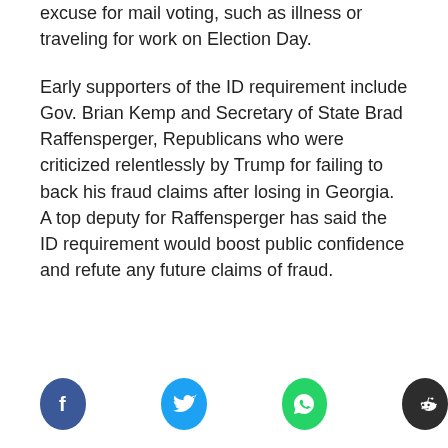excuse for mail voting, such as illness or traveling for work on Election Day.
Early supporters of the ID requirement include Gov. Brian Kemp and Secretary of State Brad Raffensperger, Republicans who were criticized relentlessly by Trump for failing to back his fraud claims after losing in Georgia. A top deputy for Raffensperger has said the ID requirement would boost public confidence and refute any future claims of fraud.
[Figure (infographic): Row of four social media sharing icons: Facebook (blue circle), Twitter (light blue circle), WhatsApp (green circle), Reddit (dark grey circle)]